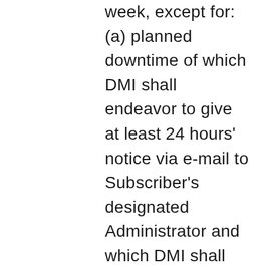week, except for: (a) planned downtime of which DMI shall endeavor to give at least 24 hours' notice via e-mail to Subscriber's designated Administrator and which DMI shall schedule to the extent reasonably practicable during non-peak hours as determined by DMI; and (b) any unavailability caused by circumstances beyond DMI's control, including but not limited to, acts of God, acts of government, epidemic, pandemic, flood, fire, earthquake, weather, civil unrest, acts of terror, strikes or other labor problems, computer, telecommunications, Internet service provider or hosting facility failures or delays involving hardware, software, or power systems not within DMI's possession or control, and network intrusions or denial of